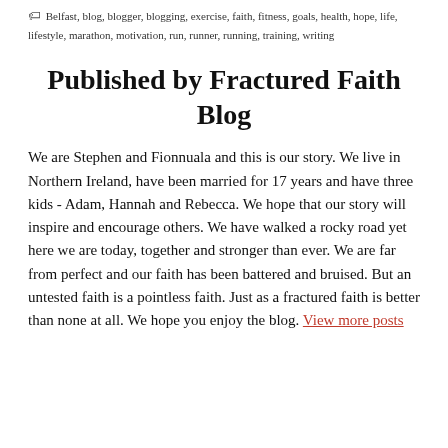Belfast, blog, blogger, blogging, exercise, faith, fitness, goals, health, hope, life, lifestyle, marathon, motivation, run, runner, running, training, writing
Published by Fractured Faith Blog
We are Stephen and Fionnuala and this is our story. We live in Northern Ireland, have been married for 17 years and have three kids - Adam, Hannah and Rebecca. We hope that our story will inspire and encourage others. We have walked a rocky road yet here we are today, together and stronger than ever. We are far from perfect and our faith has been battered and bruised. But an untested faith is a pointless faith. Just as a fractured faith is better than none at all. We hope you enjoy the blog. View more posts